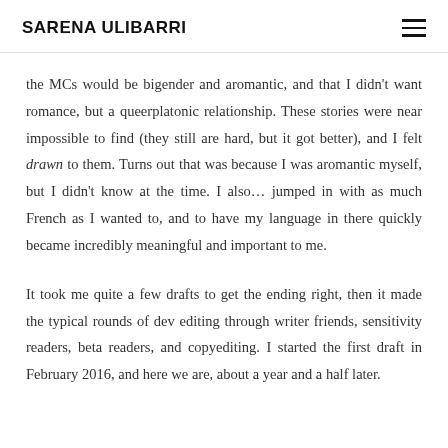SARENA ULIBARRI
the MCs would be bigender and aromantic, and that I didn't want romance, but a queerplatonic relationship. These stories were near impossible to find (they still are hard, but it got better), and I felt drawn to them. Turns out that was because I was aromantic myself, but I didn't know at the time. I also… jumped in with as much French as I wanted to, and to have my language in there quickly became incredibly meaningful and important to me.
It took me quite a few drafts to get the ending right, then it made the typical rounds of dev editing through writer friends, sensitivity readers, beta readers, and copyediting. I started the first draft in February 2016, and here we are, about a year and a half later.